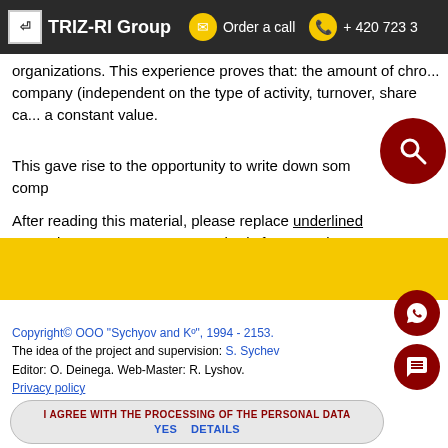TRIZ-RI Group   Order a call   + 420 723 3
organizations. This experience proves that: the amount of chro... company (independent on the type of activity, turnover, share ca... a constant value.
This gave rise to the opportunity to write down som... comp...
After reading this material, please replace underlined examples... core company standards for Your Firm.
Copyright© OOO "Sychyov and Kº", 1994 - 2153.
The idea of the project and supervision: S. Sychev
Editor: O. Deinega. Web-Master: R. Lyshov.
Privacy policy
I AGREE WITH THE PROCESSING OF THE PERSONAL DATA
YES   DETAILS